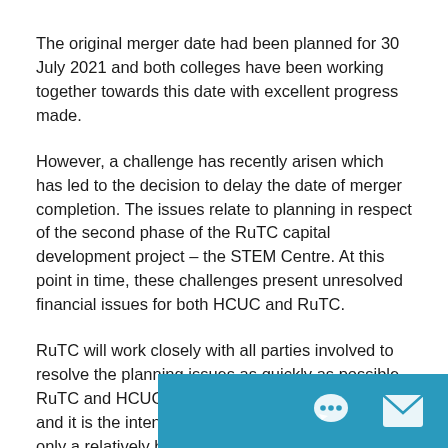The original merger date had been planned for 30 July 2021 and both colleges have been working together towards this date with excellent progress made.
However, a challenge has recently arisen which has led to the decision to delay the date of merger completion. The issues relate to planning in respect of the second phase of the RuTC capital development project – the STEM Centre. At this point in time, these challenges present unresolved financial issues for both HCUC and RuTC.
RuTC will work closely with all parties involved to resolve the planning issues as quickly as possible. RuTC and HCUC remain committed to the merger, and it is the intention that merger will go ahead with only a relatively brief delay.
Ian Valvona, Chair of Governors at RuTC, said. "RuTC and HCUC are committed to merger. We believe that w together – Stronger together' - a partnersh
[Figure (other): Teal chat widget with speech bubble icon and envelope/mail icon in bottom-right corner]